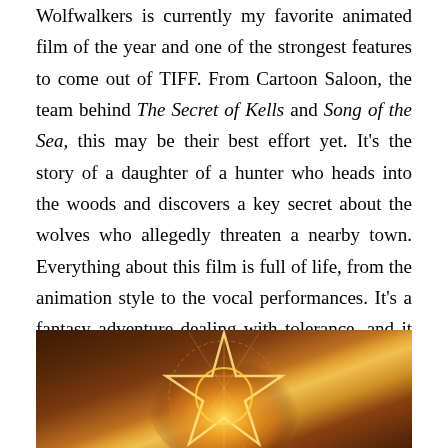Wolfwalkers is currently my favorite animated film of the year and one of the strongest features to come out of TIFF. From Cartoon Saloon, the team behind The Secret of Kells and Song of the Sea, this may be their best effort yet. It's the story of a daughter of a hunter who heads into the woods and discovers a key secret about the wolves who allegedly threaten a nearby town. Everything about this film is full of life, from the animation style to the vocal performances. It's a fantasy adventure dealing with tolerance, and it does a terrific job of utilizing all the elements found in the best animated features meant for a broad audience.
[Figure (photo): Dark fantasy movie still showing a glowing golden wolf/star symbol with mystical runes and patterns against a dark brownish-red background]